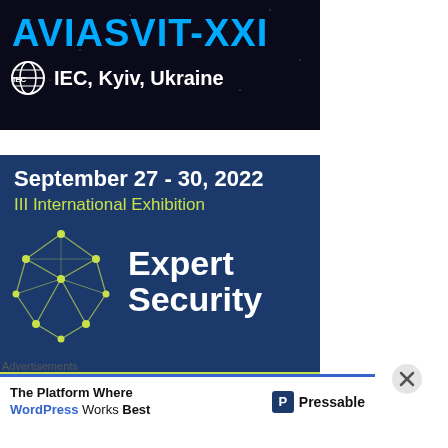[Figure (logo): AVIASVIT-XXI banner with IEC logo and 'IEC, Kyiv, Ukraine' text on dark background]
[Figure (illustration): Expert Security III International Exhibition banner, September 27-30 2022, IEC Kyiv Ukraine, dark blue with geometric network graphic and yellow-green accents]
Advertisements
The Platform Where WordPress Works Best  Pressable